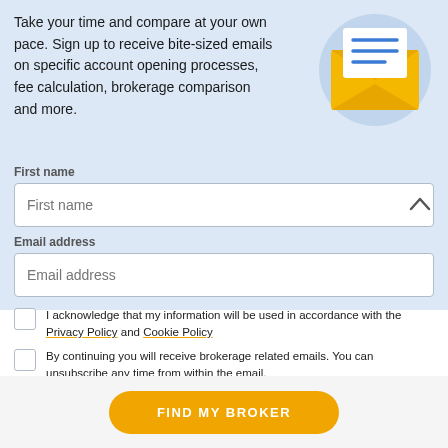Take your time and compare at your own pace. Sign up to receive bite-sized emails on specific account opening processes, fee calculation, brokerage comparison and more.
[Figure (illustration): Yellow envelope with a letter inside, on a light blue circular background]
First name
First name (placeholder in input field)
Email address
Email address (placeholder in input field)
I acknowledge that my information will be used in accordance with the Privacy Policy and Cookie Policy
By continuing you will receive brokerage related emails. You can unsubscribe any time from within the email.
FIND MY BROKER